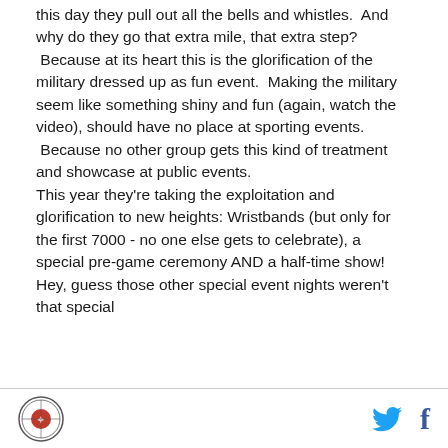this day they pull out all the bells and whistles.  And why do they go that extra mile, that extra step?  Because at its heart this is the glorification of the military dressed up as fun event.  Making the military seem like something shiny and fun (again, watch the video), should have no place at sporting events.  Because no other group gets this kind of treatment and showcase at public events.

This year they're taking the exploitation and glorification to new heights: Wristbands (but only for the first 7000 - no one else gets to celebrate), a special pre-game ceremony AND a half-time show! Hey, guess those other special event nights weren't that special
[logo] [twitter] [facebook]